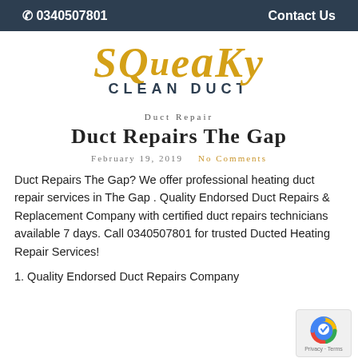☎ 0340507801   Contact Us
[Figure (logo): Squeaky Clean Duct logo with yellow italic 'SQueaKY' text and dark 'CLEAN DUCT' subtitle]
Duct Repair
Duct Repairs The Gap
February 19, 2019   No Comments
Duct Repairs The Gap? We offer professional heating duct repair services in The Gap . Quality Endorsed Duct Repairs & Replacement Company with certified duct repairs technicians available 7 days. Call 0340507801 for trusted Ducted Heating Repair Services!
1. Quality Endorsed Duct Repairs Company